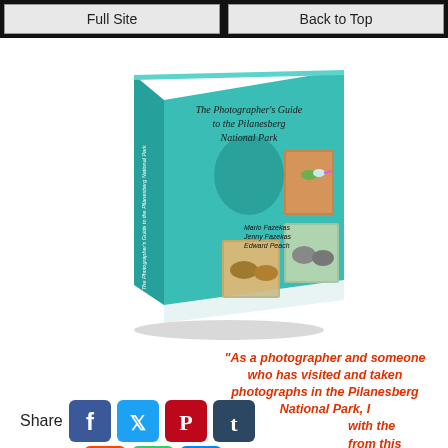Full Site | Back to Top
[Figure (illustration): Book cover of 'The Photographer's Guide to the Pilanesberg National Park' by Mario Fazekas, Jenny Fazekas, Edward Peach. Teal/turquoise colored book with wildlife photos on cover including a bird and elephants.]
"As a photographer and someone who has visited and taken photographs in the Pilanesberg National Park, I with the from this ences and much more
Share
[Figure (infographic): Social media share buttons: Facebook, Twitter, Pinterest, Tumblr, Reddit, WhatsApp, Messenger]